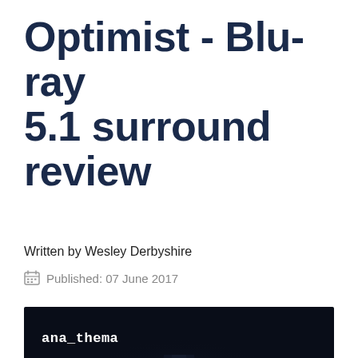Optimist - Blu-ray 5.1 surround review
Written by Wesley Derbyshire
Published: 07 June 2017
[Figure (photo): Dark atmospheric photo with ana_thema logo text in the upper left, showing a dimly lit corridor or stage with a faint spotlight effect on a very dark navy/black background.]